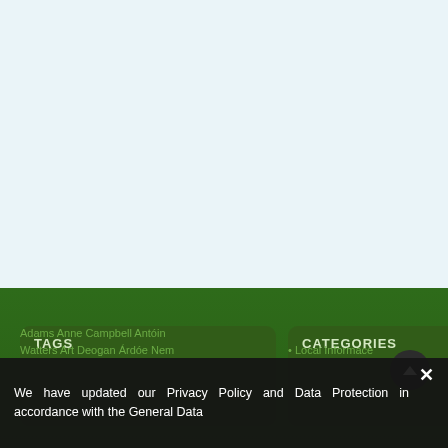[Figure (screenshot): Light blue empty content area at top of webpage]
[Figure (screenshot): Green footer area with TAGS and CATEGORIES boxes on dark green background]
TAGS
Adams Anne Campbell Antóin Watters Art Deegan Árdóe Nem
CATEGORIES
• Local Informace
We have updated our Privacy Policy and Data Protection in accordance with the General Data